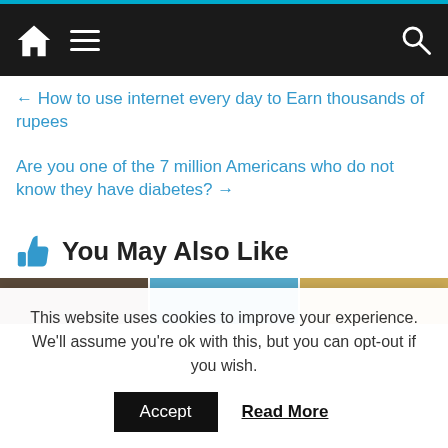Navigation bar with home, menu, and search icons
← How to use internet every day to Earn thousands of rupees
Are you one of the 7 million Americans who do not know they have diabetes? →
You May Also Like
[Figure (photo): Three thumbnail images in a horizontal strip]
This website uses cookies to improve your experience. We'll assume you're ok with this, but you can opt-out if you wish.
Accept   Read More